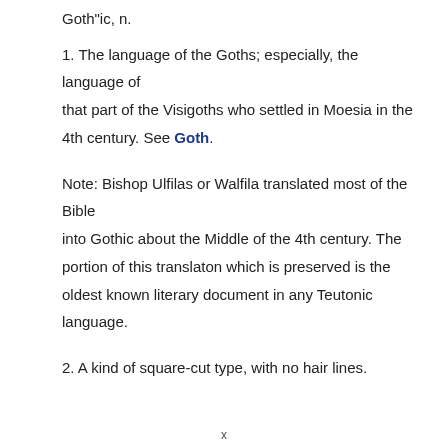Goth"ic, n.
1. The language of the Goths; especially, the language of that part of the Visigoths who settled in Moesia in the 4th century. See Goth.
Note: Bishop Ulfilas or Walfila translated most of the Bible into Gothic about the Middle of the 4th century. The portion of this translaton which is preserved is the oldest known literary document in any Teutonic language.
2. A kind of square-cut type, with no hair lines.
x